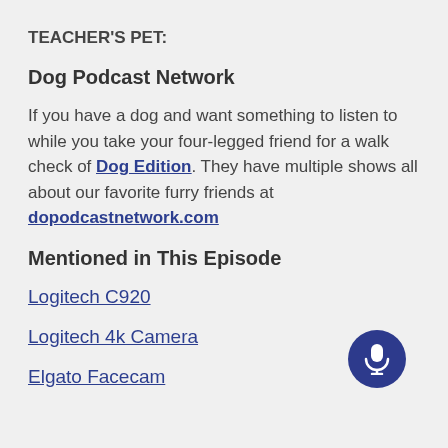TEACHER'S PET:
Dog Podcast Network
If you have a dog and want something to listen to while you take your four-legged friend for a walk check of Dog Edition. They have multiple shows all about our favorite furry friends at dopodcastnetwork.com
Mentioned in This Episode
Logitech C920
Logitech 4k Camera
Elgato Facecam